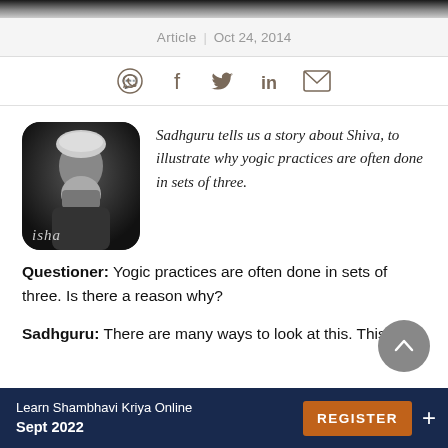[Figure (photo): Top dark image strip at the top of the page]
Article | Oct 24, 2014
[Figure (infographic): Social share icons: WhatsApp, Facebook, Twitter, LinkedIn, Email]
[Figure (photo): Isha/Sadhguru app thumbnail - black and white portrait of bearded man with isha logo]
Sadhguru tells us a story about Shiva, to illustrate why yogic practices are often done in sets of three.
Questioner: Yogic practices are often done in sets of three. Is there a reason why?
Sadhguru: There are many ways to look at this. This is a
Learn Shambhavi Kriya Online Sept 2022  REGISTER